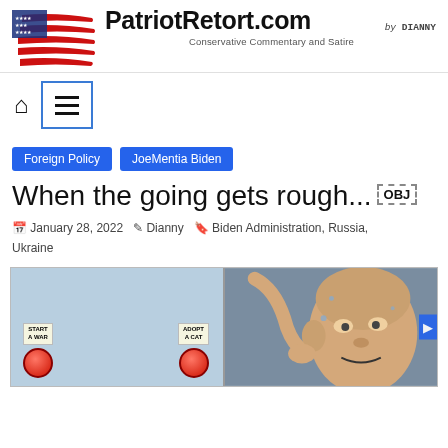PatriotRetort.com — Conservative Commentary and Satire — by DIANNY
[Figure (logo): American flag brushstroke logo for PatriotRetort.com with site title and tagline 'Conservative Commentary and Satire' and byline 'by DIANNY']
[Figure (screenshot): Website navigation bar with home icon and hamburger menu button in blue border box]
Foreign Policy   JoeMentia Biden
When the going gets rough... [OBJ]
January 28, 2022   Dianny   Biden Administration, Russia, Ukraine
[Figure (illustration): Two-panel meme: left panel shows two red buttons labeled 'START A WAR' and 'ADOPT A CAT'; right panel shows a bald man (Joe Biden caricature) sweating and pressing a button]